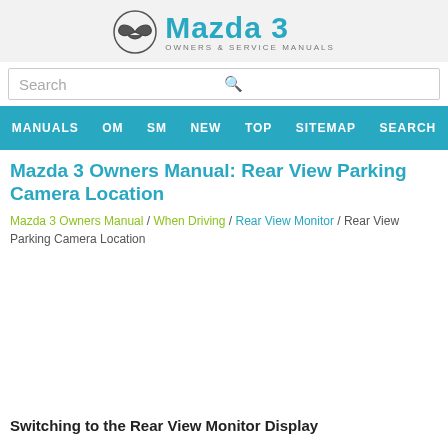[Figure (logo): Mazda 3 Owners & Service Manuals logo with Mazda wing emblem]
Search
MANUALS  OM  SM  NEW  TOP  SITEMAP  SEARCH
Mazda 3 Owners Manual: Rear View Parking Camera Location
Mazda 3 Owners Manual / When Driving / Rear View Monitor / Rear View Parking Camera Location
Switching to the Rear View Monitor Display